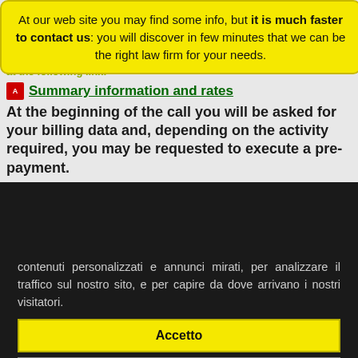At our web site you may find some info, but it is much faster to contact us: you will discover in few minutes that we can be the right law firm for your needs.
at the following link:
Summary information and rates
At the beginning of the call you will be asked for your billing data and, depending on the activity required, you may be requested to execute a pre-payment.
contenuti personalizzati e annunci mirati, per analizzare il traffico sul nostro sito, e per capire da dove arrivano i nostri visitatori.
Accetto
Rifiuto
Cambia le mie impostazioni